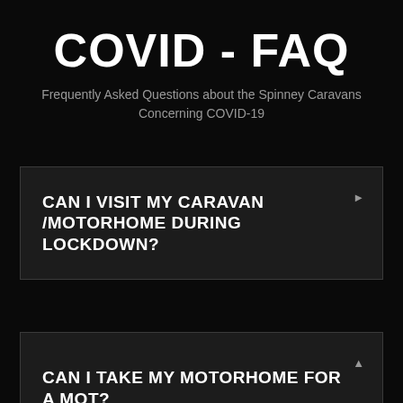COVID - FAQ
Frequently Asked Questions about the Spinney Caravans Concerning COVID-19
CAN I VISIT MY CARAVAN /MOTORHOME DURING LOCKDOWN?
CAN I TAKE MY MOTORHOME FOR A MOT?